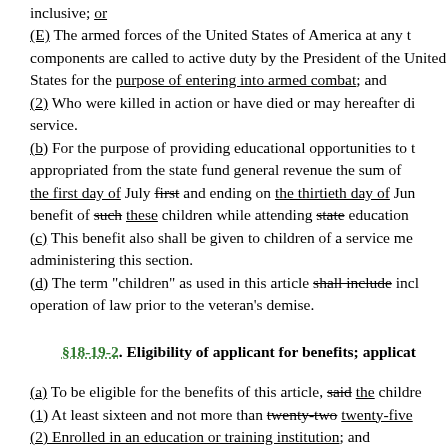inclusive; or
(E) The armed forces of the United States of America at any time its components are called to active duty by the President of the United States for the purpose of entering into armed combat; and
(2) Who were killed in action or have died or may hereafter die while in such service.
(b) For the purpose of providing educational opportunities to these children, there is appropriated from the state fund general revenue the sum of a certain amount beginning the first day of July first and ending on the thirtieth day of June for the use and benefit of such these children while attending state educational institutions.
(c) This benefit also shall be given to children of a service member as defined by administering this section.
(d) The term "children" as used in this article shall include incl... operation of law prior to the veteran's demise.
§18-19-2. Eligibility of applicant for benefits; application
(a) To be eligible for the benefits of this article, said the children must be:
(1) At least sixteen and not more than twenty-two twenty-five years of age;
(2) Enrolled in an education or training institution; and
(3) have had their domiciles in this state for at least twelve months